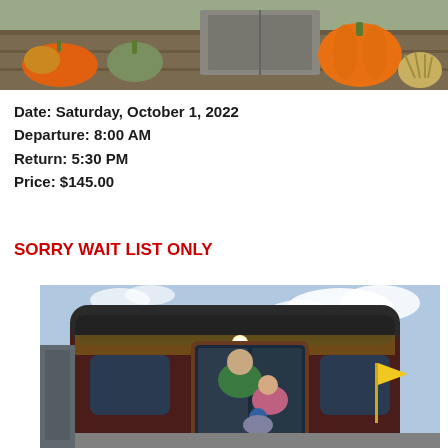[Figure (photo): Photo of fall harvest decorations including pumpkins and gourds on a wooden surface]
Date:   Saturday, October 1, 2022
Departure:   8:00 AM
Return:   5:30 PM
Price:   $145.00
SORRY WAIT LIST ONLY
[Figure (photo): Photo of people boarding a vintage railway passenger car with a yellow flag, taken outdoors under a cloudy sky]